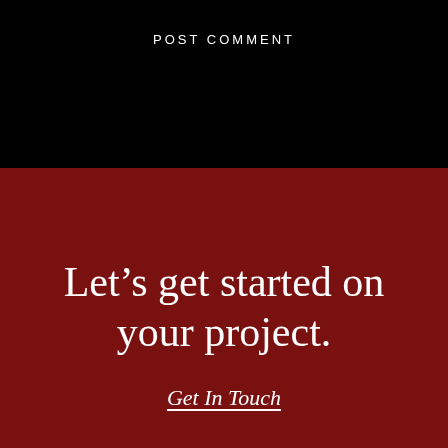POST COMMENT
Let’s get started on your project.
Get In Touch